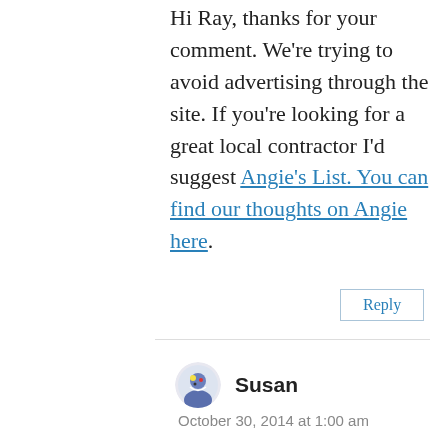Hi Ray, thanks for your comment. We're trying to avoid advertising through the site. If you're looking for a great local contractor I'd suggest Angie's List. You can find our thoughts on Angie here.
Reply
Susan
October 30, 2014 at 1:00 am
Do you have a window company in the Chicago north metro area? I checked out The Window Dog on Angie's List but nothing came up. I live in a condo and I don't know if I can do replacement